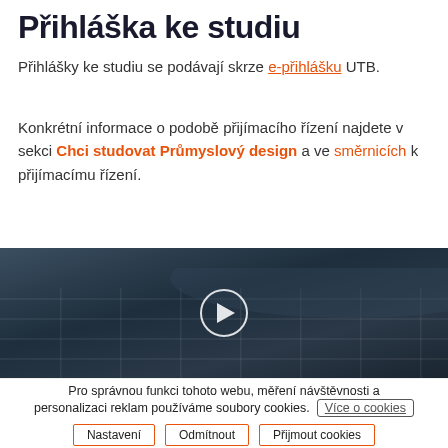Přihláška ke studiu
Přihlášky ke studiu se podávají skrze e-přihlášku UTB.
Konkrétní informace o podobě přijímacího řízení najdete v sekci Chci studovat Průmyslový design a ve směrnicích k přijímacímu řízení.
[Figure (photo): Photo/video thumbnail of a university building with a circular play button overlay, dark blue-grey tone]
Pro správnou funkci tohoto webu, měření návštěvnosti a personalizaci reklam používáme soubory cookies.
Více o cookies | Nastavení | Odmítnout | Přijmout cookies